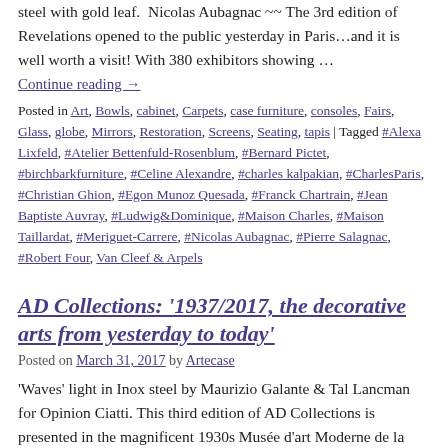steel with gold leaf.  Nicolas Aubagnac ~~ The 3rd edition of Revelations opened to the public yesterday in Paris…and it is well worth a visit! With 380 exhibitors showing …
Continue reading →
Posted in Art, Bowls, cabinet, Carpets, case furniture, consoles, Fairs, Glass, globe, Mirrors, Restoration, Screens, Seating, tapis | Tagged #Alexa Lixfeld, #Atelier Bettenfuld-Rosenblum, #Bernard Pictet, #birchbarkfurniture, #Celine Alexandre, #charles kalpakian, #CharlesParis, #Christian Ghion, #Egon Munoz Quesada, #Franck Chartrain, #Jean Baptiste Auvray, #Ludwig&Dominique, #Maison Charles, #Maison Taillardat, #Meriguet-Carrere, #Nicolas Aubagnac, #Pierre Salagnac, #Robert Four, Van Cleef & Arpels
AD Collections: '1937/2017, the decorative arts from yesterday to today'
Posted on March 31, 2017 by Artecase
'Waves' light in Inox steel by Maurizio Galante & Tal Lancman for Opinion Ciatti. This third edition of AD Collections is presented in the magnificent 1930s Musée d'art Moderne de la Ville de Paris, a building originally created for the …
Continue reading →
Posted in cabinet, case furniture, Ceramics, consoles, Design History, Desks,